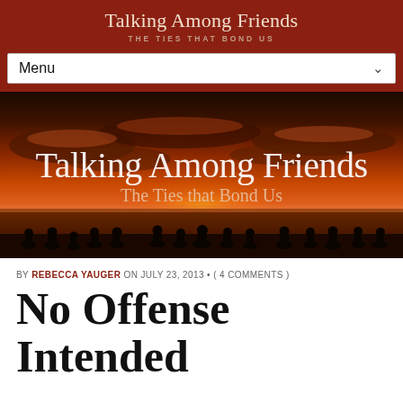Talking Among Friends
THE TIES THAT BOND US
[Figure (screenshot): Navigation menu bar with 'Menu' text and dropdown chevron on dark red background]
[Figure (photo): Website hero banner showing silhouettes of people sitting along a beach at sunset with orange and red sky. Text overlay reads 'Talking Among Friends' and 'The Ties that Bond Us']
BY REBECCA YAUGER ON JULY 23, 2013 • ( 4 COMMENTS )
No Offense Intended